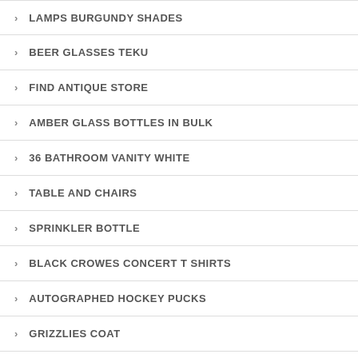LAMPS BURGUNDY SHADES
BEER GLASSES TEKU
FIND ANTIQUE STORE
AMBER GLASS BOTTLES IN BULK
36 BATHROOM VANITY WHITE
TABLE AND CHAIRS
SPRINKLER BOTTLE
BLACK CROWES CONCERT T SHIRTS
AUTOGRAPHED HOCKEY PUCKS
GRIZZLIES COAT